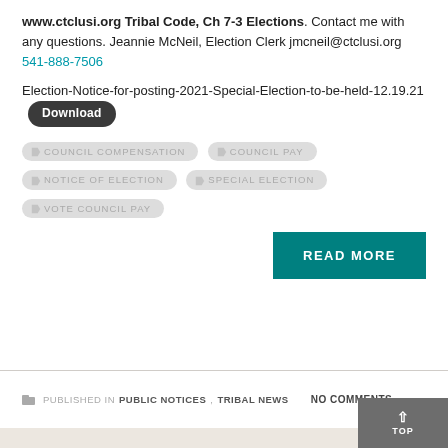www.ctclusi.org Tribal Code, Ch 7-3 Elections. Contact me with any questions. Jeannie McNeil, Election Clerk jmcneil@ctclusi.org 541-888-7506
Election-Notice-for-posting-2021-Special-Election-to-be-held-12.19.21 [Download]
COUNCIL COMPENSATION
COUNCIL PAY
NOTICE OF ELECTION
SPECIAL ELECTION
VOTE COUNCIL PAY
READ MORE
PUBLISHED IN PUBLIC NOTICES, TRIBAL NEWS   NO COMMENTS